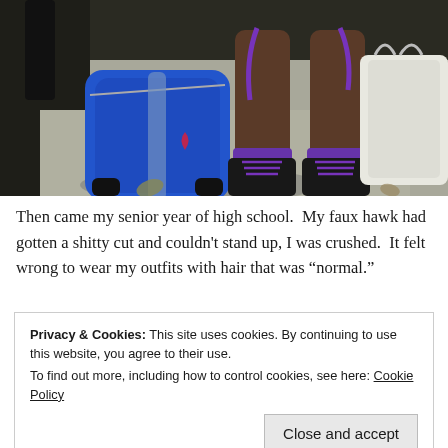[Figure (photo): Photograph showing a person's legs and feet wearing black boots with purple laces and purple socks, seated near a blue backpack and a white bag on a sidewalk. The scene is outdoors in sunlight.]
Then came my senior year of high school.  My faux hawk had gotten a shitty cut and couldn't stand up, I was crushed.  It felt wrong to wear my outfits with hair that was “normal.”
Privacy & Cookies: This site uses cookies. By continuing to use this website, you agree to their use.
To find out more, including how to control cookies, see here: Cookie Policy
Close and accept